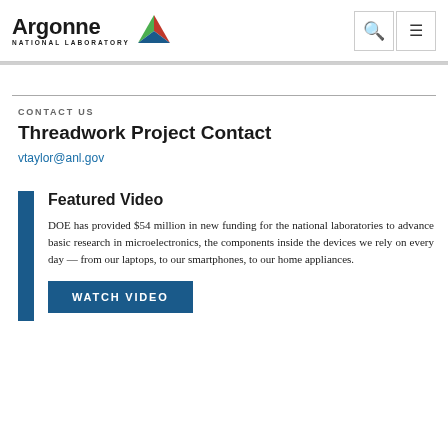[Figure (logo): Argonne National Laboratory logo with colorful triangle and text]
CONTACT US
Threadwork Project Contact
vtaylor@anl.gov
Featured Video
DOE has provided $54 million in new funding for the national laboratories to advance basic research in microelectronics, the components inside the devices we rely on every day — from our laptops, to our smartphones, to our home appliances.
WATCH VIDEO